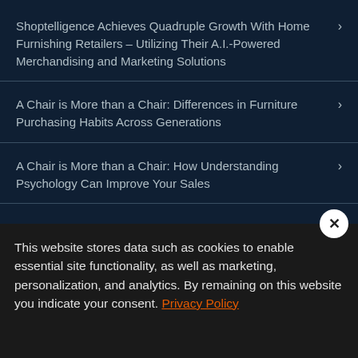Shoptelligence Achieves Quadruple Growth With Home Furnishing Retailers – Utilizing Their A.I.-Powered Merchandising and Marketing Solutions
A Chair is More than a Chair: Differences in Furniture Purchasing Habits Across Generations
A Chair is More than a Chair: How Understanding Psychology Can Improve Your Sales
This website stores data such as cookies to enable essential site functionality, as well as marketing, personalization, and analytics. By remaining on this website you indicate your consent.